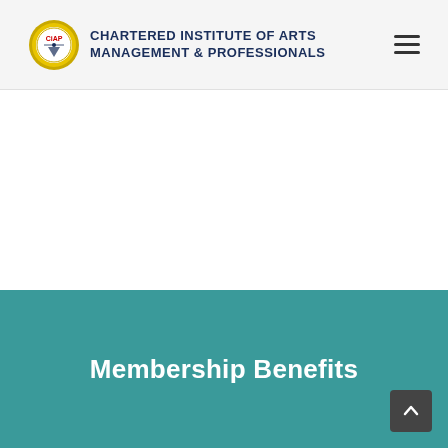CHARTERED INSTITUTE OF ARTS MANAGEMENT & PROFESSIONALS
Membership Benefits